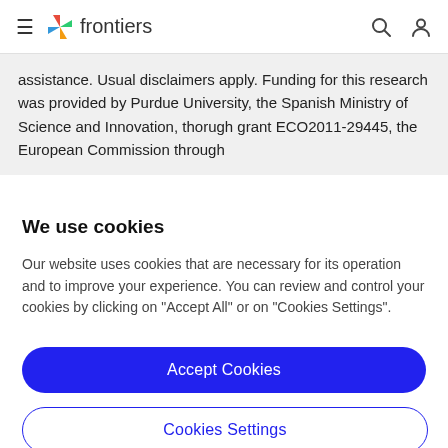frontiers
assistance. Usual disclaimers apply. Funding for this research was provided by Purdue University, the Spanish Ministry of Science and Innovation, thorugh grant ECO2011-29445, the European Commission through
We use cookies
Our website uses cookies that are necessary for its operation and to improve your experience. You can review and control your cookies by clicking on "Accept All" or on "Cookies Settings".
Accept Cookies
Cookies Settings